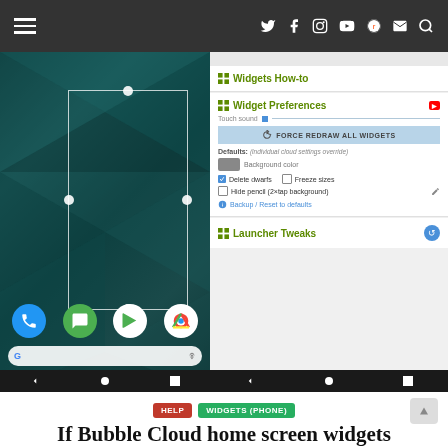Navigation header with hamburger menu and social icons (Twitter, Facebook, Instagram, YouTube, Reddit, Email, Search)
[Figure (screenshot): Screenshot of Android phone showing widget resize mode on left, and Widget Preferences panel on right with 'Widgets How-to', 'Widget Preferences' section showing FORCE REDRAW ALL WIDGETS button, Delete dwarfs checkbox, Freeze sizes checkbox, Hide pencil checkbox, Backup/Reset to defaults link, and 'Launcher Tweaks' section]
HELP
WIDGETS (PHONE)
If Bubble Cloud home screen widgets disappear